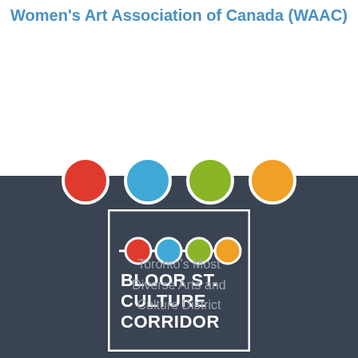Women's Art Association of Canada (WAAC)
[Figure (logo): Bloor St. Culture Corridor logo — a dark square with four colored circles (red, blue, green, orange) connected by a white horizontal line, below which reads BLOOR ST. CULTURE CORRIDOR in bold white text. Large decorative colored dots appear above the logo straddling the white/dark boundary.]
Toronto's Most Diverse Arts and Culture District